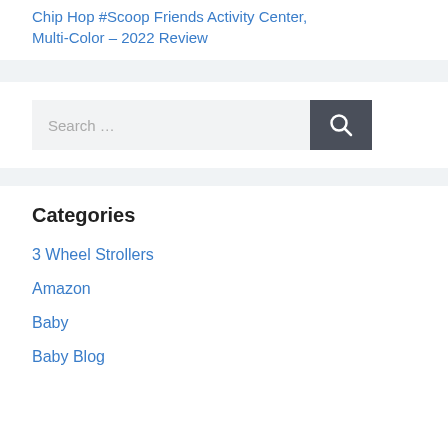Chip Hop #Scoop Friends Activity Center, Multi-Color – 2022 Review
Search …
Categories
3 Wheel Strollers
Amazon
Baby
Baby Blog